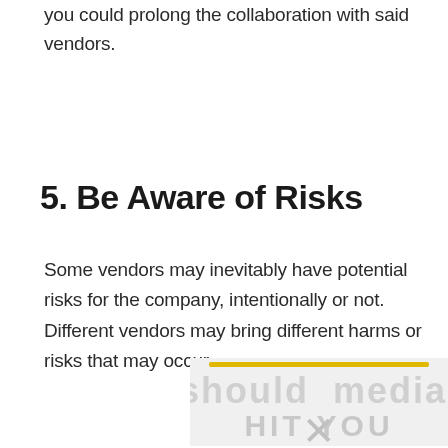you could prolong the collaboration with said vendors.
5. Be Aware of Risks
Some vendors may inevitably have potential risks for the company, intentionally or not. Different vendors may bring different harms or risks that may occur.
[Figure (other): Partially visible advertisement or watermarked placeholder image with a yellow horizontal bar and large ghosted text reading 'should media' and 'HIT YOU' with an X graphic below.]